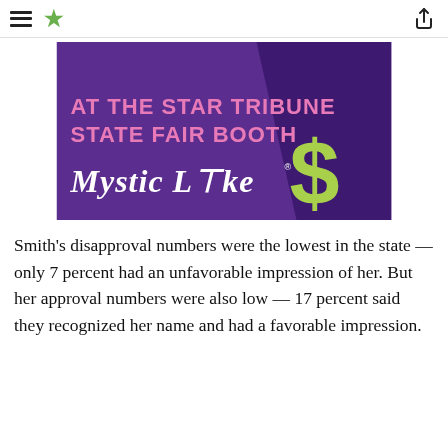Star Tribune navigation header with hamburger menu and share icon
[Figure (illustration): Mystic Lake Casino advertisement at the Star Tribune State Fair Booth. Purple background with pink text reading 'AT THE STAR TRIBUNE STATE FAIR BOOTH', white italic text 'Mystic Lake' logo, and a green dollar sign graphic.]
Smith's disapproval numbers were the lowest in the state — only 7 percent had an unfavorable impression of her. But her approval numbers were also low — 17 percent said they recognized her name and had a favorable impression.